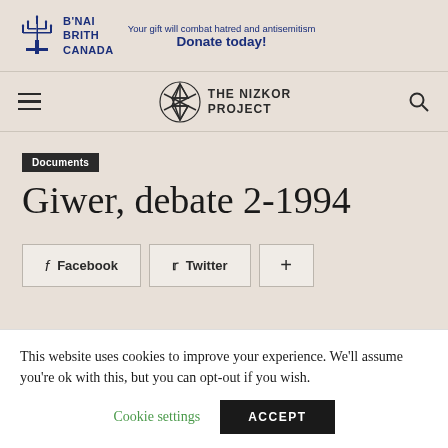[Figure (logo): B'Nai Brith Canada logo with menorah icon and text]
Your gift will combat hatred and antisemitism
Donate today!
[Figure (logo): The Nizkor Project logo with Star of David]
Documents
Giwer, debate 2-1994
Facebook  Twitter  +
This website uses cookies to improve your experience. We'll assume you're ok with this, but you can opt-out if you wish.
Cookie settings  ACCEPT